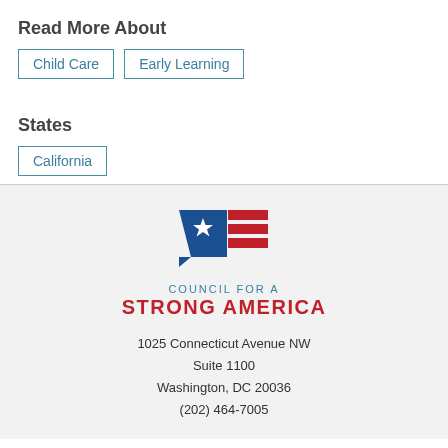Read More About
Child Care
Early Learning
States
California
[Figure (logo): Council for a Strong America logo: blue speech bubble with white star and red stripes, text 'COUNCIL FOR A STRONG AMERICA']
1025 Connecticut Avenue NW
Suite 1100
Washington, DC 20036
(202) 464-7005